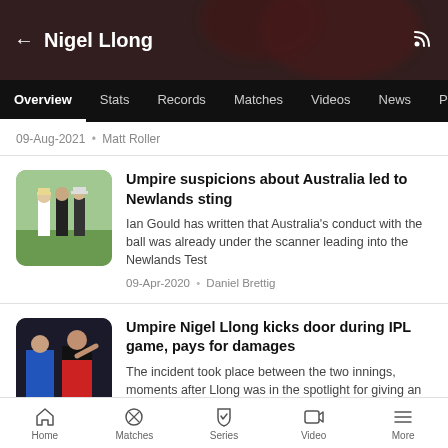Nigel Llong
Overview | Stats | Records | Matches | Videos | News | F
09-Aug-2021 · Matt Roller
[Figure (photo): Cricket umpires and player on field]
Umpire suspicions about Australia led to Newlands sting
Ian Gould has written that Australia's conduct with the ball was already under the scanner leading into the Newlands Test
09-Apr-2020 · Daniel Brettig
[Figure (photo): Umpire and player during IPL game]
Umpire Nigel Llong kicks door during IPL game, pays for damages
The incident took place between the two innings, moments after Llong was in the spotlight for giving an incorrect no-ball call off Umesh Yadav...
Home | Matches | Series | Video | More